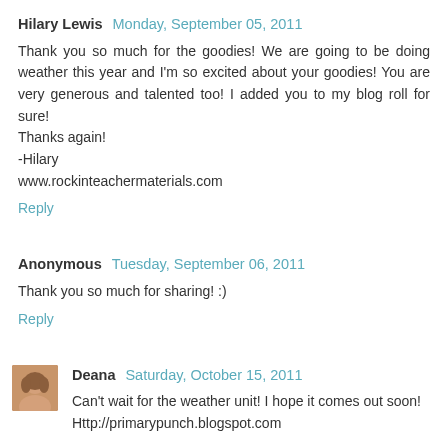Hilary Lewis Monday, September 05, 2011
Thank you so much for the goodies! We are going to be doing weather this year and I'm so excited about your goodies! You are very generous and talented too! I added you to my blog roll for sure!
Thanks again!
-Hilary
www.rockinteachermaterials.com
Reply
Anonymous Tuesday, September 06, 2011
Thank you so much for sharing! :)
Reply
Deana Saturday, October 15, 2011
Can't wait for the weather unit! I hope it comes out soon!
Http://primarypunch.blogspot.com
Reply